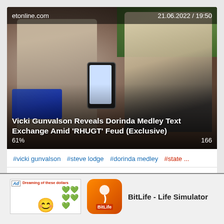[Figure (screenshot): Video thumbnail showing two women, one holding a phone. ET Online article dated 21.06.2022 / 19:50. Title: Vicki Gunvalson Reveals Dorinda Medley Text Exchange Amid 'RHUGT' Feud (Exclusive). Progress 61%, view count 166.]
#vicki gunvalson  #steve lodge  #dorinda medley  #state ...
[Figure (infographic): Advertisement for BitLife - Life Simulator app with smiley face graphic and INSTALL! button]